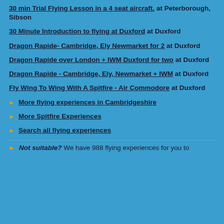30 min Trial Flying Lesson in a 4 seat aircraft. at Peterborough, Sibson
30 Minute Introduction to flying at Duxford at Duxford
Dragon Rapide- Cambridge, Ely Newmarket for 2 at Duxford
Dragon Rapide over London + IWM Duxford for two at Duxford
Dragon Rapide - Cambridge, Ely, Newmarket + IWM at Duxford
Fly Wing To Wing With A Spitfire - Air Commodore at Duxford
More flying experiences in Cambridgeshire
More Spitfire Experiences
Search all flying experiences
Not suitable? We have 988 flying experiences for you to